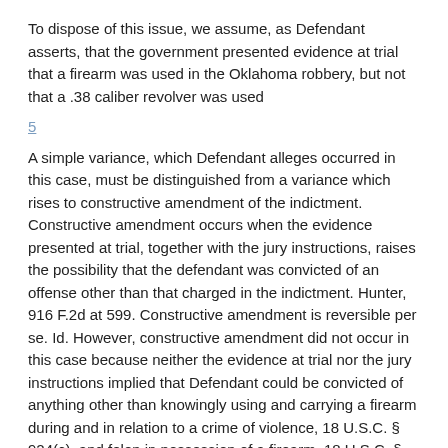To dispose of this issue, we assume, as Defendant asserts, that the government presented evidence at trial that a firearm was used in the Oklahoma robbery, but not that a .38 caliber revolver was used
5
A simple variance, which Defendant alleges occurred in this case, must be distinguished from a variance which rises to constructive amendment of the indictment. Constructive amendment occurs when the evidence presented at trial, together with the jury instructions, raises the possibility that the defendant was convicted of an offense other than that charged in the indictment. Hunter, 916 F.2d at 599. Constructive amendment is reversible per se. Id. However, constructive amendment did not occur in this case because neither the evidence at trial nor the jury instructions implied that Defendant could be convicted of anything other than knowingly using and carrying a firearm during and in relation to a crime of violence, 18 U.S.C. § 924(c), and felon in possession of a firearm, 18 U.S.C. § 922(g)(1)
6
Because the jury, following the court's instruction, found Defendant guilty